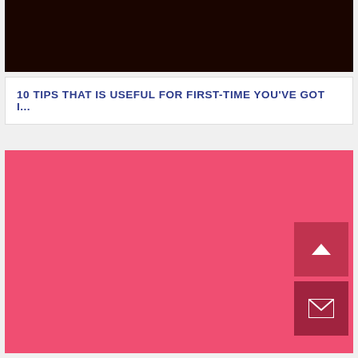[Figure (other): Dark brown/black header banner at the top of the page]
10 TIPS THAT IS USEFUL FOR FIRST-TIME YOU'VE GOT I...
[Figure (other): Large pink/hot-pink rectangular block filling the lower portion of the page, with a scroll-to-top button (chevron up) and an email/envelope button in the bottom-right corner]